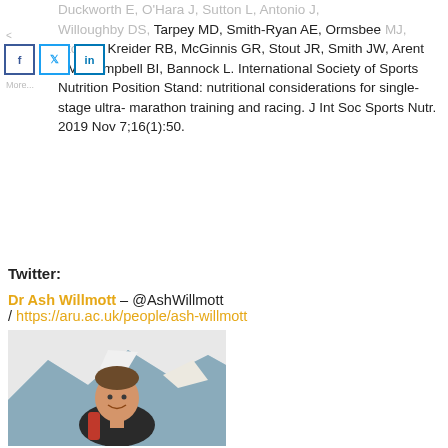Duckworth E, O'Hara J, Sutton L, Antonio J, Willoughby DS, Tarpey MD, Smith-Ryan AE, Ormsbee MJ, Stout J, Kreider RB, McGinnis GR, Stout JR, Smith JW, Arent SM, Campbell BI, Bannock L. International Society of Sports Nutrition Position Stand: nutritional considerations for single-stage ultra-marathon training and racing. J Int Soc Sports Nutr. 2019 Nov 7;16(1):50.
Twitter:
Dr Ash Willmott – @AshWillmott / https://aru.ac.uk/people/ash-willmott
[Figure (photo): Headshot photo of Dr Ash Willmott smiling, wearing a dark jacket with red lining, with a snowy mountain landscape in the background.]